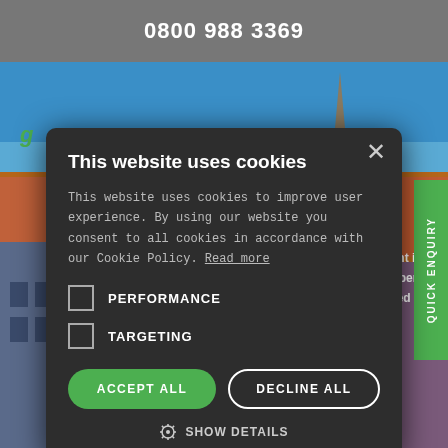0800 988 3369
[Figure (photo): City background photo showing European architecture, red-tiled roofs, and blue sky, with 'Did you know?' text overlay]
This website uses cookies
This website uses cookies to improve user experience. By using our website you consent to all cookies in accordance with our Cookie Policy. Read more
PERFORMANCE
TARGETING
ACCEPT ALL
DECLINE ALL
SHOW DETAILS